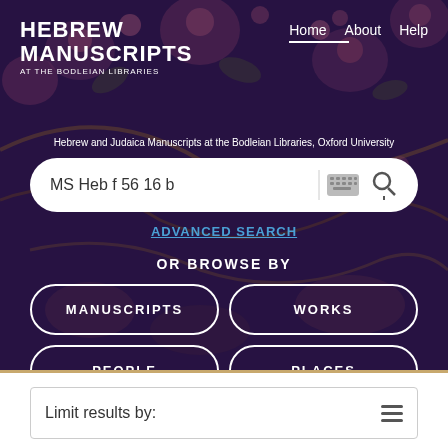[Figure (screenshot): Hebrew Manuscripts at the Bodleian Libraries website hero section with decorative floral manuscript background in dark purple/maroon tones. Navigation bar shows 'HEBREW MANUSCRIPTS AT THE BODLEIAN LIBRARIES' logo on left, and 'Home About Help' links on right. Below is a search box with 'MS Heb f 56 16 b' query, keyboard and search icons. 'ADVANCED SEARCH' link in blue below. 'OR BROWSE BY' label with four buttons: MANUSCRIPTS, WORKS, PEOPLE, PLACES.]
Limit results by: